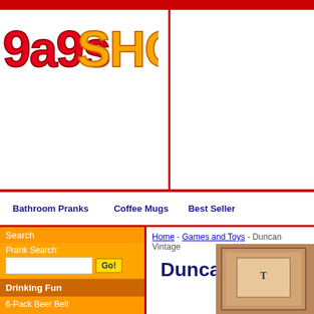[Figure (logo): Gags Shop logo with bold orange/red stylized text reading '9a9s SHOP']
Bathroom Pranks   Coffee Mugs   Best Sellers
Search
Prank Search:
Drinking Fun
6-Pack Beer Belt
Breathalyzer Keychain
The Irish Drinking Glove
Santa Claus Liquor Dispenser
more+
Games and Toys
Watch with Remote Control Mini Car
12 inch Grabbit Grabber
Grow Your Own 6-Pack
Chattering Teeth - Classic Toy
more+
Classic Pranks
Home - Games and Toys - Duncan Vintage
Duncan Vi